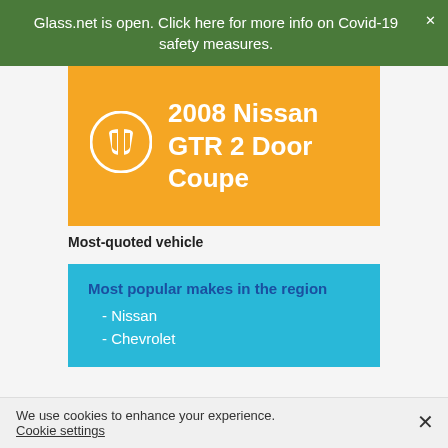Glass.net is open. Click here for more info on Covid-19 safety measures.
[Figure (infographic): Orange card with Glass.net windshield icon and text '2008 Nissan GTR 2 Door Coupe']
Most-quoted vehicle
Most popular makes in the region
- Nissan
- Chevrolet
We use cookies to enhance your experience. Cookie settings